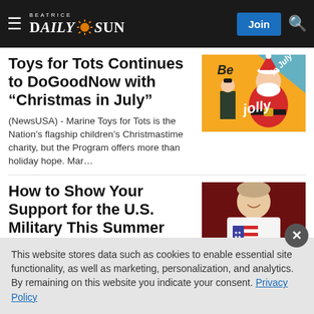Beatrice Daily Sun
Toys for Tots Continues to DoGoodNow with “Christmas in July”
[Figure (illustration): Christmas in July promotional image with Santa Claus and a Marine, orange background, text reading 'Be jolly in July']
(NewsUSA) - Marine Toys for Tots is the Nation’s flagship children’s Christmastime charity, but the Program offers more than holiday hope. Mar…
How to Show Your Support for the U.S. Military This Summer
[Figure (photo): Person wearing a white t-shirt with American flag design, close-up photo with dark red background]
This website stores data such as cookies to enable essential site functionality, as well as marketing, personalization, and analytics. By remaining on this website you indicate your consent. Privacy Policy